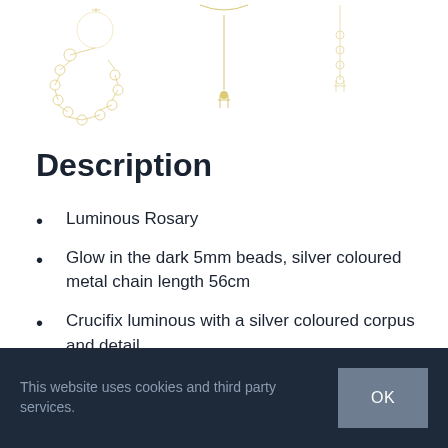[Figure (photo): Jewelry items including rosaries and necklaces displayed on white background]
Description
Luminous Rosary
Glow in the dark 5mm beads, silver coloured metal chain length 56cm
Crucifix luminous with a silver coloured corpus and detail
Five decade with 59 luminous beads of the same size
This website uses cookies and third party services.